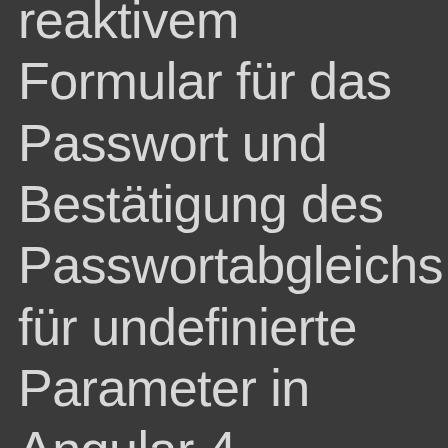reaktivem Formular für das Passwort und Bestätigung des Passwortabgleichs für undefinierte Parameter in Angular 4